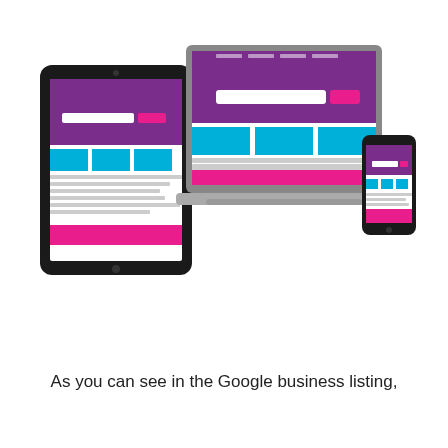[Figure (illustration): Three devices (tablet, laptop, smartphone) each displaying a responsive website mockup with purple header, blue content blocks, pink/magenta accents, and gray text lines.]
As you can see in the Google business listing,